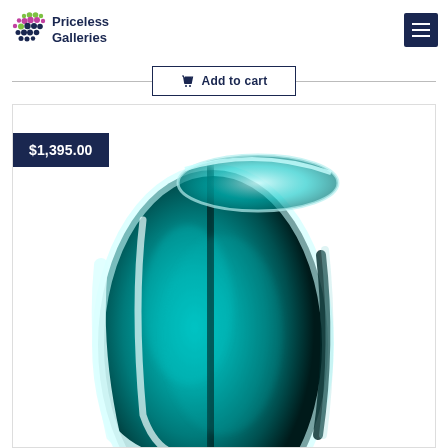Priceless Galleries
Add to cart
[Figure (photo): A teal/turquoise art glass vase with a smooth organic shape, transparent with deep teal coloring, photographed against a white background. Price badge showing $1,395.00 overlaid on top-left.]